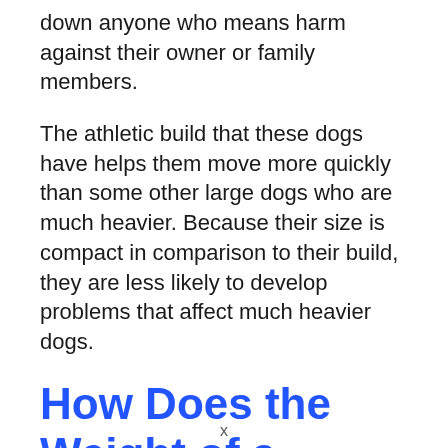down anyone who means harm against their owner or family members.
The athletic build that these dogs have helps them move more quickly than some other large dogs who are much heavier. Because their size is compact in comparison to their build, they are less likely to develop problems that affect much heavier dogs.
How Does the Weight of a Doberman Vary?
There is only one weight range that conforms
x